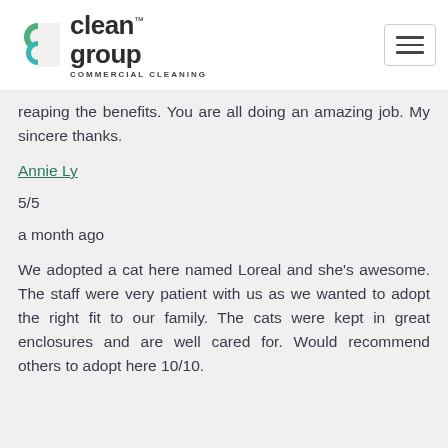clean group COMMERCIAL CLEANING
reaping the benefits. You are all doing an amazing job. My sincere thanks.
Annie Ly
5/5
a month ago
We adopted a cat here named Loreal and she's awesome. The staff were very patient with us as we wanted to adopt the right fit to our family. The cats were kept in great enclosures and are well cared for. Would recommend others to adopt here 10/10.